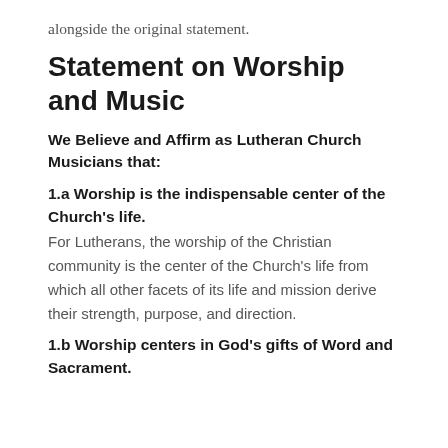alongside the original statement.
Statement on Worship and Music
We Believe and Affirm as Lutheran Church Musicians that:
1.a Worship is the indispensable center of the Church's life.
For Lutherans, the worship of the Christian community is the center of the Church's life from which all other facets of its life and mission derive their strength, purpose, and direction.
1.b Worship centers in God's gifts of Word and Sacrament.